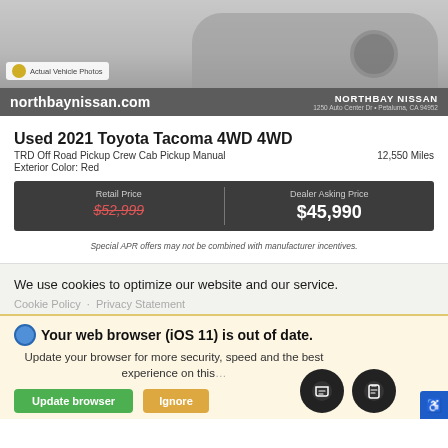[Figure (photo): Top portion of a car photo on a dealership website, showing the rear/wheel area of a vehicle against a light gray background]
Actual Vehicle Photos
northbaynissan.com   NORTHBAY NISSAN  1250 Auto Center Dr • Petaluma, CA 94952
Used 2021 Toyota Tacoma 4WD 4WD
TRD Off Road Pickup Crew Cab Pickup Manual   12,550 Miles
Exterior Color: Red
| Retail Price | Dealer Asking Price |
| --- | --- |
| $52,999 | $45,990 |
Special APR offers may not be combined with manufacturer incentives.
We use cookies to optimize our website and our service.
Cookie Policy   Privacy Statement
🌐 Your web browser (iOS 11) is out of date.
Update your browser for more security, speed and the best experience on this…
Update browser   Ignore